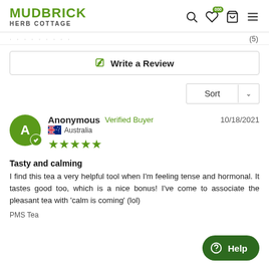MUDBRICK HERB COTTAGE
Write a Review
Sort
Anonymous  Verified Buyer  10/18/2021  Australia  ★★★★★
Tasty and calming
I find this tea a very helpful tool when I'm feeling tense and hormonal. It tastes good too, which is a nice bonus! I've come to associate the pleasant tea with 'calm is coming' (lol)
PMS Tea